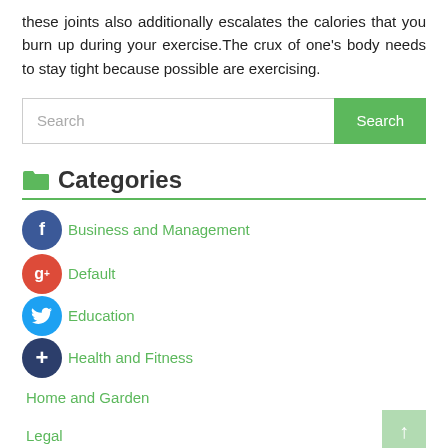these joints also additionally escalates the calories that you burn up during your exercise. The crux of one's body needs to stay tight because possible are exercising.
[Figure (screenshot): Search bar with green Search button]
Categories
Business and Management
Default
Education
Health and Fitness
Home and Garden
Legal